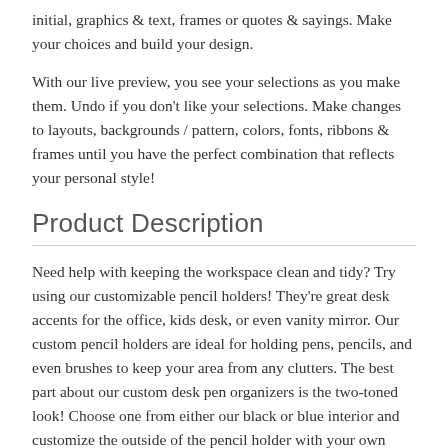initial, graphics & text, frames or quotes & sayings. Make your choices and build your design.
With our live preview, you see your selections as you make them. Undo if you don't like your selections. Make changes to layouts, backgrounds / pattern, colors, fonts, ribbons & frames until you have the perfect combination that reflects your personal style!
Product Description
Need help with keeping the workspace clean and tidy? Try using our customizable pencil holders! They're great desk accents for the office, kids desk, or even vanity mirror. Our custom pencil holders are ideal for holding pens, pencils, and even brushes to keep your area from any clutters. The best part about our custom desk pen organizers is the two-toned look! Choose one from either our black or blue interior and customize the outside of the pencil holder with your own personalized design! Use our online design studio to create logos, monograms, or even print a favorite photo to display on the cup holder! Create a cute pencil holder for the kid's desk, or add a cool design to hold any brushes. The options are